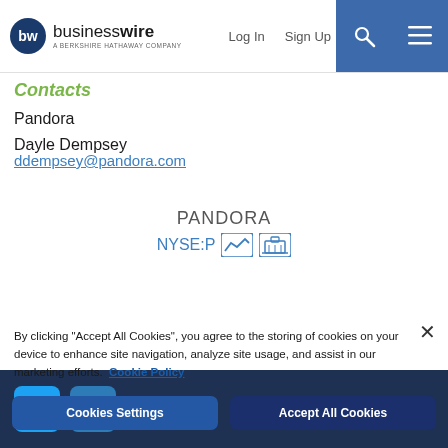businesswire — A BERKSHIRE HATHAWAY COMPANY | Log In | Sign Up
Contacts
Pandora
Dayle Dempsey
ddempsey@pandora.com
PANDORA
NYSE:P
By clicking "Accept All Cookies", you agree to the storing of cookies on your device to enhance site navigation, analyze site usage, and assist in our marketing efforts. Cookie Policy
Cookies Settings
Accept All Cookies